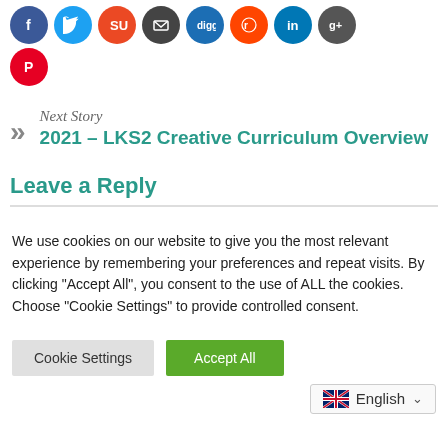[Figure (other): Row of social media icon buttons: Facebook, Twitter, StumbleUpon, Email, Digg, Reddit, LinkedIn, Google+]
[Figure (other): Pinterest social media icon button]
Next Story
2021 – LKS2 Creative Curriculum Overview
Leave a Reply
We use cookies on our website to give you the most relevant experience by remembering your preferences and repeat visits. By clicking "Accept All", you consent to the use of ALL the cookies. Choose "Cookie Settings" to provide controlled consent.
Cookie Settings | Accept All
English